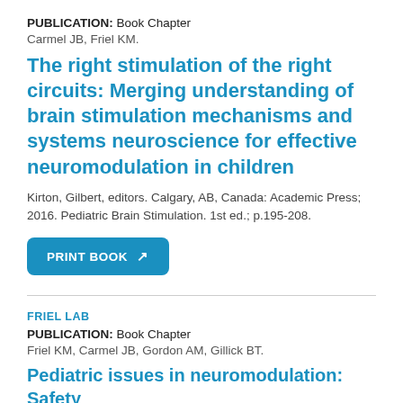PUBLICATION: Book Chapter
Carmel JB, Friel KM.
The right stimulation of the right circuits: Merging understanding of brain stimulation mechanisms and systems neuroscience for effective neuromodulation in children
Kirton, Gilbert, editors. Calgary, AB, Canada: Academic Press; 2016. Pediatric Brain Stimulation. 1st ed.; p.195-208.
[Figure (other): PRINT BOOK button with external link icon]
FRIEL LAB
PUBLICATION: Book Chapter
Friel KM, Carmel JB, Gordon AM, Gillick BT.
Pediatric issues in neuromodulation: Safety